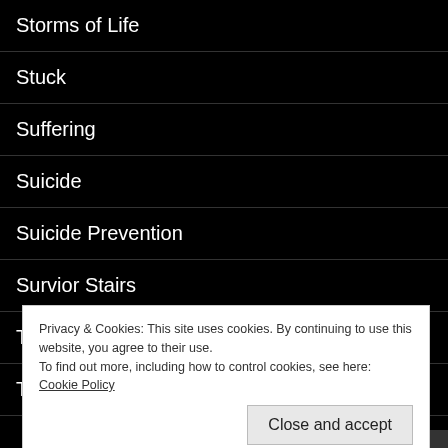Storms of Life
Stuck
Suffering
Suicide
Suicide Prevention
Survior Stairs
Teachers
Thankful
Thanksgiving
Privacy & Cookies: This site uses cookies. By continuing to use this website, you agree to their use.
To find out more, including how to control cookies, see here: Cookie Policy
Close and accept